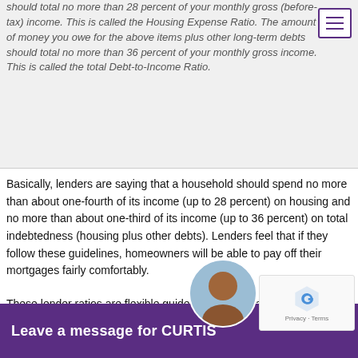should total no more than 28 percent of your monthly gross (before-tax) income. This is called the Housing Expense Ratio. The amount of money you owe for the above items plus other long-term debts should total no more than 36 percent of your monthly gross income. This is called the total Debt-to-Income Ratio.
Basically, lenders are saying that a household should spend no more than about one-fourth of its income (up to 28 percent) on housing and no more than about one-third of its income (up to 36 percent) on total indebtedness (housing plus other debts). Lenders feel that if they follow these guidelines, homeowners will be able to pay off their mortgages fairly comfortably.
These lender ratios are flexible guidelines. If you have a consistent record of paying rent that is very close in amount to your proposed monthly mortgage payments or if you make a large down payment, you may be able to use somewhat higher ratios. Some lenders offer special loans for low- and moderate-income homebuyers that allow them to use higher ratios. These programs also often provide help for hou...